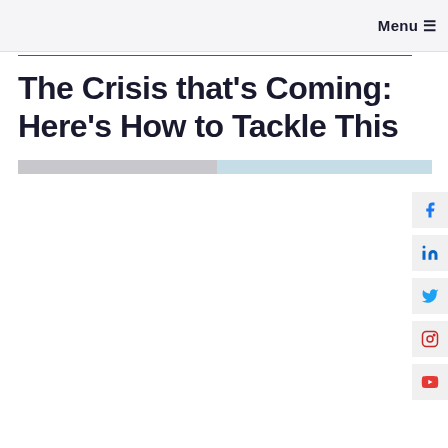Menu ☰
The Crisis that's Coming: Here's How to Tackle This
[Figure (infographic): Horizontal progress/reading bar with two segments: gray on the left (~48%) and light blue on the right (~52%)]
[Figure (infographic): Social media sidebar icons: Facebook (f), LinkedIn (in), Twitter bird, Instagram, YouTube]